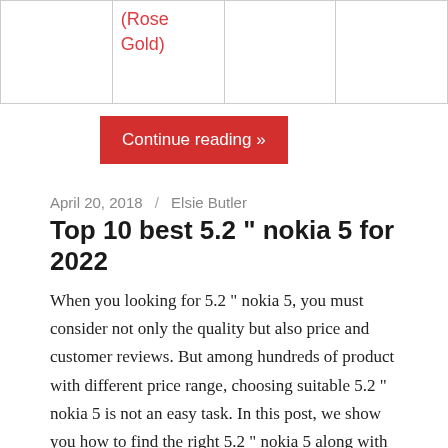|  | (Rose Gold) |  |  |
Continue reading »
April 20, 2018 / Elsie Butler
Top 10 best 5.2 " nokia 5 for 2022
When you looking for 5.2 " nokia 5, you must consider not only the quality but also price and customer reviews. But among hundreds of product with different price range, choosing suitable 5.2 " nokia 5 is not an easy task. In this post, we show you how to find the right 5.2 " nokia 5 along with our top-rated reviews. Please check out our suggestions to find the best 5.2 " nokia 5 for you.